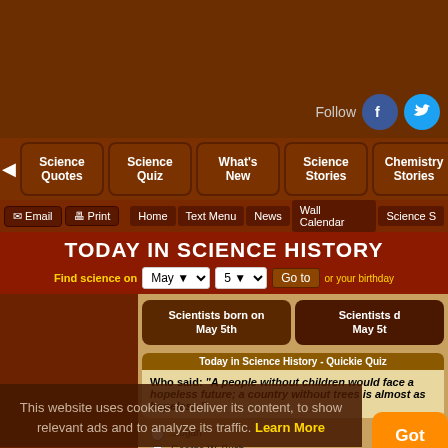[Figure (screenshot): Social media follow icons for Facebook and Twitter with 'Follow' label]
Science Quotes | Science Quiz | What's New | Science Stories | Chemistry Stories | Perpetual Motion | Newsletter
Email | Print | Home | Text Menu | News | Wall Calendar | Science S...
TODAY IN SCIENCE HISTORY
Find science on May 5 Go to or your birthday
Scientists born on May 5th | Scientists d... May 5t
Today in Science History - Quickie Quiz
Who said: "A people without children would face a hopeless future; a country without trees is almost as hopeless."
This website uses cookies to deliver its content, to show relevant ads and to analyze its traffic. Learn More
...ogan | George W. Bush | Theodore Roosevelt | Submit